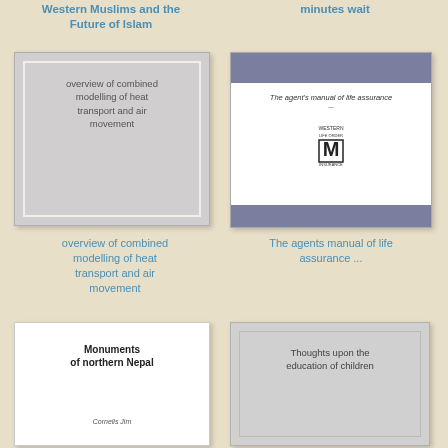Western Muslims and the Future of Islam
minutes wait
[Figure (illustration): Book cover - overview of combined modelling of heat transport and air movement (gray cover with white inner frame)]
[Figure (illustration): Book cover - The agent's manual of life assurance (white cover with purple/slate top and bottom bars, logo in middle)]
overview of combined modelling of heat transport and air movement
The agents manual of life assurance ...
[Figure (illustration): Book cover - Monuments of northern Nepal (white cover with bold title and author Cornelis Jim)]
[Figure (illustration): Book cover - Thoughts upon the education of children (gray cover)]